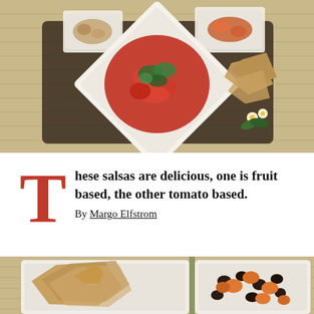[Figure (photo): Overhead view of salsa in a white diamond-shaped bowl on a woven tray, surrounded by other small white bowls and tortilla chips, with daisy flowers as garnish on a burlap background.]
These salsas are delicious, one is fruit based, the other tomato based. By Margo Elfstrom
[Figure (photo): Close-up photo of white square bowls containing tortilla chips and a fruit/bean salsa with black beans and orange fruit pieces, on a burlap background.]